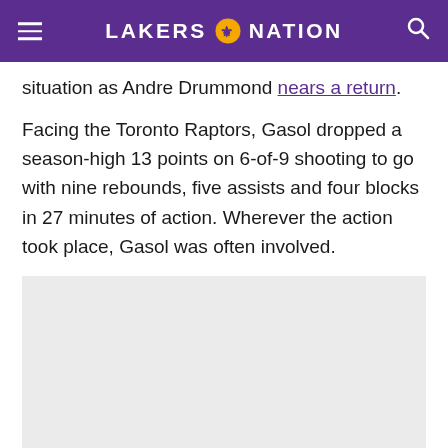LAKERS NATION
situation as Andre Drummond nears a return.
Facing the Toronto Raptors, Gasol dropped a season-high 13 points on 6-of-9 shooting to go with nine rebounds, five assists and four blocks in 27 minutes of action. Wherever the action took place, Gasol was often involved.
[Figure (photo): Gray placeholder image area]